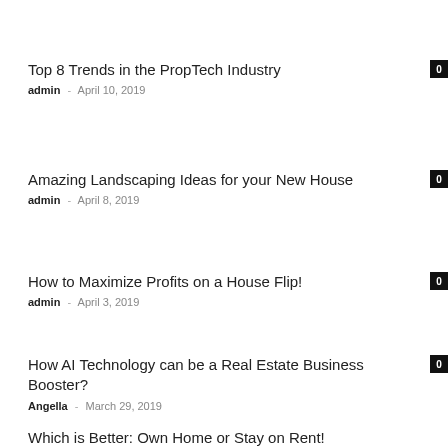Top 8 Trends in the PropTech Industry — admin · April 10, 2019 — 0
Amazing Landscaping Ideas for your New House — admin · April 8, 2019 — 0
How to Maximize Profits on a House Flip! — admin · April 3, 2019 — 0
How AI Technology can be a Real Estate Business Booster? — Angella · March 29, 2019 — 0
Which is Better: Own Home or Stay on Rent!